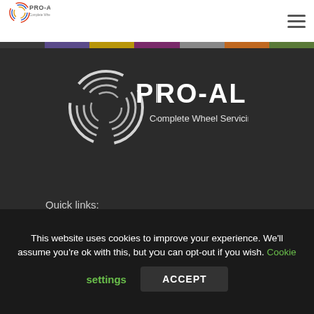[Figure (logo): Pro-Align logo in header - circular swirl icon with PRO-ALIGN text]
[Figure (logo): Pro-Align logo large white on dark background with tagline 'Complete Wheel Servicing Equipment']
Quick links:
Covid-19
Careers
This website uses cookies to improve your experience. We'll assume you're ok with this, but you can opt-out if you wish. Cookie settings
ACCEPT